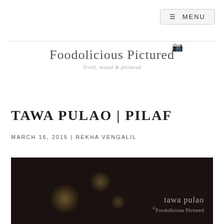☰ MENU
[Figure (logo): Foodolicious Pictured logo with camera icon and tagline 'Tried, tested & pictured']
TAWA PULAO | PILAF
MARCH 16, 2015 | REKHA VENGALIL
[Figure (photo): Dark moody food photo with bokeh light effects and watermark text 'tawa pulao ©Foodolicious Pictured']